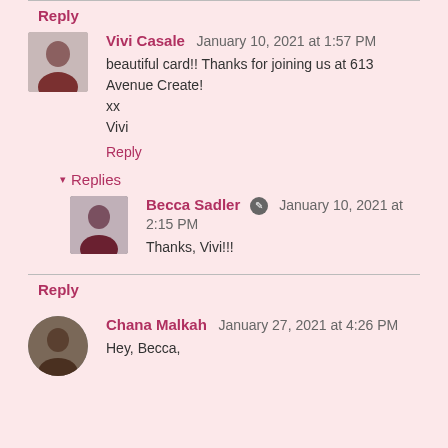Reply
Vivi Casale  January 10, 2021 at 1:57 PM
beautiful card!! Thanks for joining us at 613 Avenue Create! xx
Vivi
Reply
Replies
Becca Sadler  January 10, 2021 at 2:15 PM
Thanks, Vivi!!!
Reply
Chana Malkah  January 27, 2021 at 4:26 PM
Hey, Becca,